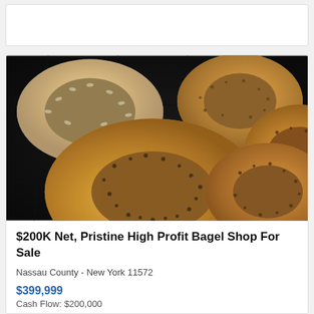[Figure (photo): Close-up photo of multiple baked bagels with seeds and toppings on a dark rack]
$200K Net, Pristine High Profit Bagel Shop For Sale
Nassau County - New York 11572
$399,999
Cash Flow: $200,000